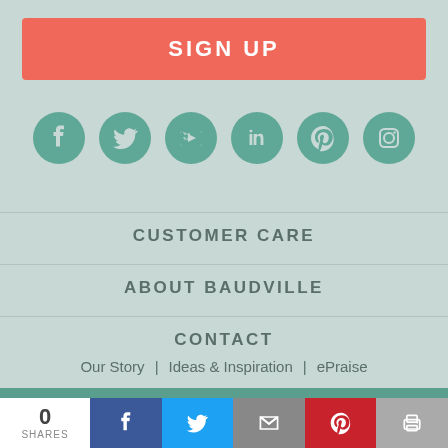SIGN UP
[Figure (illustration): Six social media icons in teal circles: Facebook, Twitter, YouTube, LinkedIn, Pinterest, Instagram]
CUSTOMER CARE
ABOUT BAUDVILLE
CONTACT
Our Story  |  Ideas & Inspiration  |  ePraise
[Figure (logo): Baudville Brands logo in white on teal background]
0 SHARES
[Figure (infographic): Social share bar with Facebook, Twitter, email, Pinterest, and print buttons]